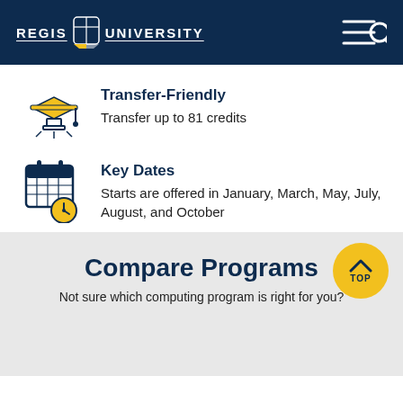REGIS UNIVERSITY
[Figure (illustration): Transfer-Friendly icon: yellow graduation cap with lamp]
Transfer-Friendly
Transfer up to 81 credits
[Figure (illustration): Key Dates icon: calendar with clock]
Key Dates
Starts are offered in January, March, May, July, August, and October
[Figure (infographic): TOP button - yellow circle with upward arrow and TOP label]
Compare Programs
Not sure which computing program is right for you?